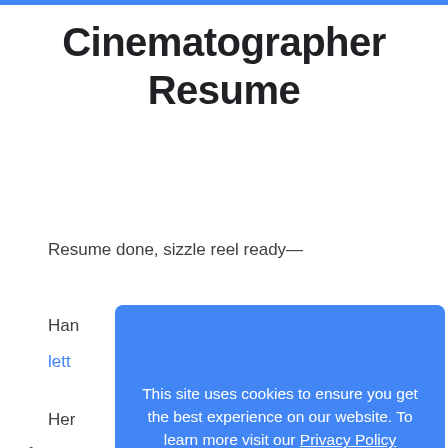Cinematographer Resume
Resume done, sizzle reel ready—
Han... [truncated by modal]
lett... [link, truncated by modal]
Her... [truncated by modal]
[Figure (screenshot): Cookie consent modal overlay on blue background reading: 'This site uses cookies to ensure you get the best experience on our website. To learn more visit our Privacy Policy' with a 'GOT IT!' button]
• [truncated by modal]
• Start your cover letter with a professional